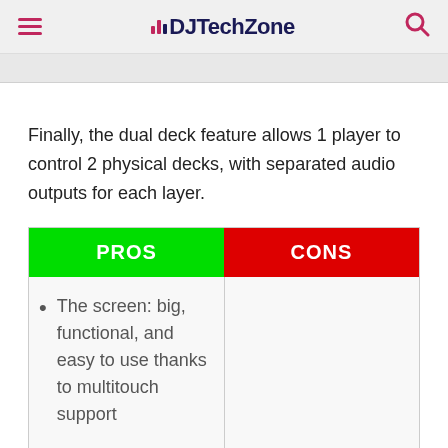DJTechZone
Finally, the dual deck feature allows 1 player to control 2 physical decks, with separated audio outputs for each layer.
| PROS | CONS |
| --- | --- |
| The screen: big, functional, and easy to use thanks to multitouch support
The jog wheel: extremely rugged, and the center display not only looks |  |